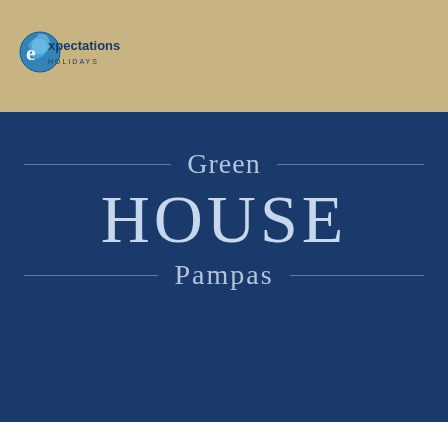[Figure (logo): Expectations Holidays logo with swirl graphic and text]
Green HOUSE Pampas